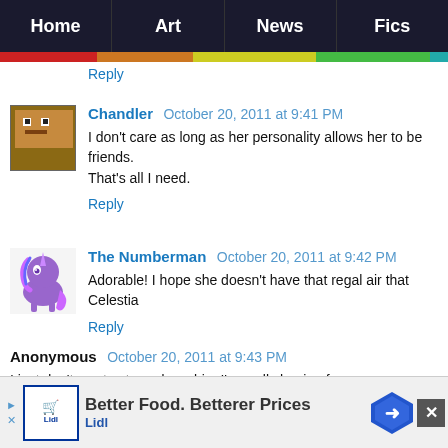Home | Art | News | Fics
Reply
Chandler  October 20, 2011 at 9:41 PM
I don't care as long as her personality allows her to be friends. That's all I need.
Reply
The Numberman  October 20, 2011 at 9:42 PM
Adorable! I hope she doesn't have that regal air that Celestia...
Reply
Anonymous  October 20, 2011 at 9:43 PM
I just don't want cute and woobie. I'm really hoping for s... believable baddass. I'd like her to be powerful and confiden...
[Figure (screenshot): Advertisement banner: Lidl - Better Food. Betterer Prices]